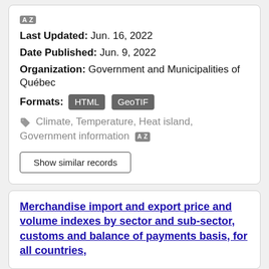AZ icon
Last Updated: Jun. 16, 2022
Date Published: Jun. 9, 2022
Organization: Government and Municipalities of Québec
Formats: HTML GeoTIF
Climate, Temperature, Heat island, Government information
Show similar records
Merchandise import and export price and volume indexes by sector and sub-sector, customs and balance of payments basis, for all countries,